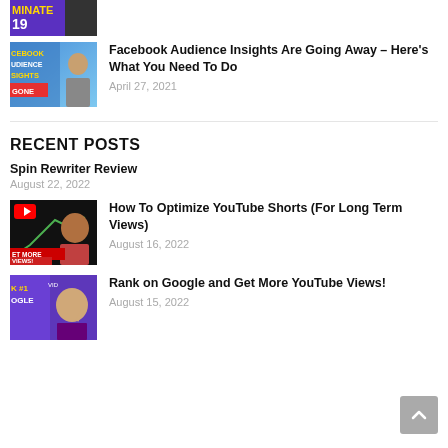[Figure (photo): Partial thumbnail at top - purple background with text DOMINATE and number 19]
[Figure (photo): Thumbnail for Facebook Audience Insights article - blue gradient background with text FACEBOOK AUDIENCE INSIGHTS GONE and person crying]
Facebook Audience Insights Are Going Away – Here's What You Need To Do
April 27, 2021
RECENT POSTS
Spin Rewriter Review
August 22, 2022
[Figure (photo): Thumbnail for YouTube Shorts article - black background with YouTube logo, chart, and person smiling, text GET MORE VIEWS!]
How To Optimize YouTube Shorts (For Long Term Views)
August 16, 2022
[Figure (photo): Thumbnail for Rank on Google article - purple background with text K #1 OGLE and smiling person pointing up]
Rank on Google and Get More YouTube Views!
August 15, 2022